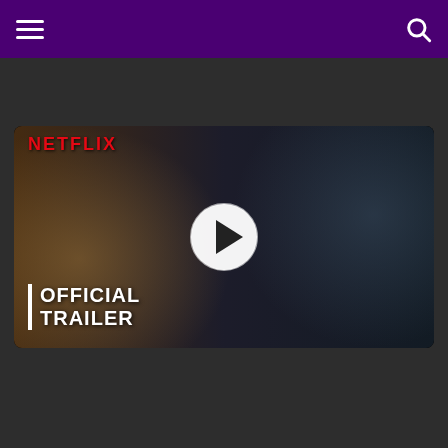Navigation bar with hamburger menu and search icon
added by squidward947
[Figure (screenshot): Netflix official trailer thumbnail showing two actors — an older man looking up on the left and a person in a hooded jacket on the right — with NETFLIX logo overlay, a white play button circle in the center, and 'OFFICIAL TRAILER' text in bold white on the lower left with a vertical white bar accent.]
Netflix
I Came bởi trailer: The darkest secrets always come to light.
The darkest secrets always come to light. A graffiti artist breaks into the trang chủ of a respected judge with something to hide and becomes a target in I Came By, a thriller starring George MacKay, Hugh Bonneville and Kelly Macdonald. Here is the trailer...